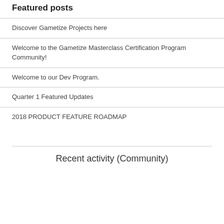Featured posts
Discover Gametize Projects here
Welcome to the Gametize Masterclass Certification Program Community!
Welcome to our Dev Program.
Quarter 1 Featured Updates
2018 PRODUCT FEATURE ROADMAP
Recent activity (Community)